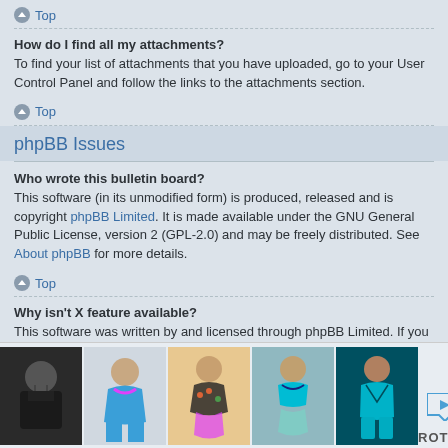Top
How do I find all my attachments?
To find your list of attachments that you have uploaded, go to your User Control Panel and follow the links to the attachments section.
Top
phpBB Issues
Who wrote this bulletin board?
This software (in its unmodified form) is produced, released and is copyright phpBB Limited. It is made available under the GNU General Public License, version 2 (GPL-2.0) and may be freely distributed. See About phpBB for more details.
Top
Why isn't X feature available?
This software was written by and licensed through phpBB Limited. If you believe
[Figure (photo): Advertisement banner showing swimwear/clothing products from ROTITA brand with 5 product images and a play/close button.]